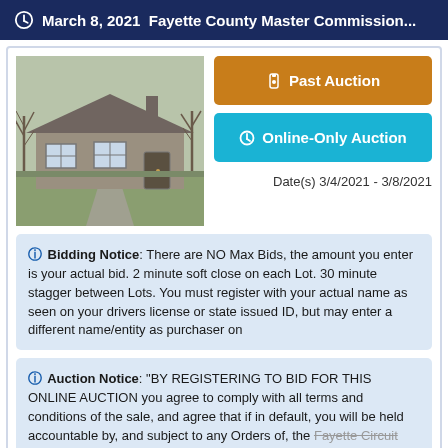March 8, 2021 Fayette County Master Commission...
[Figure (photo): Exterior photo of a small single-story house with bare trees in background, winter scene]
Past Auction
Online-Only Auction
Date(s) 3/4/2021 - 3/8/2021
Bidding Notice: There are NO Max Bids, the amount you enter is your actual bid. 2 minute soft close on each Lot. 30 minute stagger between Lots. You must register with your actual name as seen on your drivers license or state issued ID, but may enter a different name/entity as purchaser on
Auction Notice: "BY REGISTERING TO BID FOR THIS ONLINE AUCTION you agree to comply with all terms and conditions of the sale, and agree that if in default, you will be held accountable by, and subject to any Orders of, the Fayette Circuit Court". READ ALL Terms & Conditions prior to
LOCATION
Lexington, KY